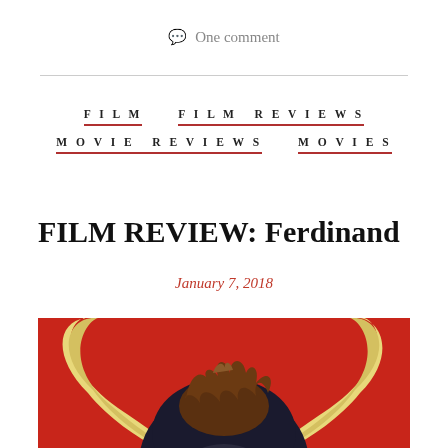💬 One comment
FILM
FILM REVIEWS
MOVIE REVIEWS
MOVIES
FILM REVIEW: Ferdinand
January 7, 2018
[Figure (illustration): Animated character Ferdinand the bull seen from above, with large curved horns, dark body, and tousled brown hair, against a bright red background. Close-up crop showing top of head and horns.]